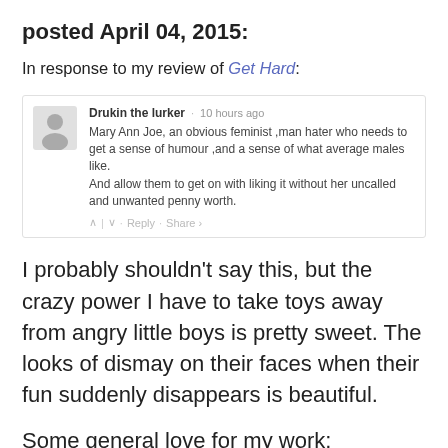posted April 04, 2015:
In response to my review of Get Hard:
[Figure (screenshot): A comment from user 'Drukin the lurker' posted 10 hours ago reading: 'Mary Ann Joe, an obvious feminist ,man hater who needs to get a sense of humour ,and a sense of what average males like. And allow them to get on with liking it without her uncalled and unwanted penny worth.' with reply/share actions.]
I probably shouldn't say this, but the crazy power I have to take toys away from angry little boys is pretty sweet. The looks of dismay on their faces when their fun suddenly disappears is beautiful.
Some general love for my work: